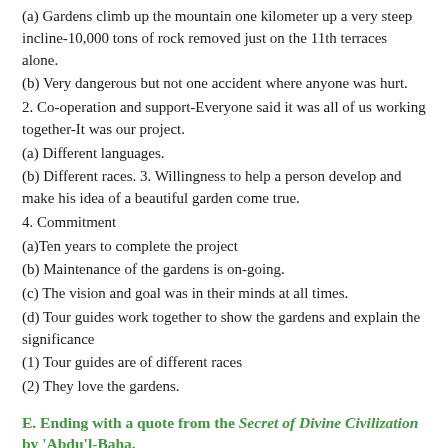(a) Gardens climb up the mountain one kilometer up a very steep incline-10,000 tons of rock removed just on the 11th terraces alone.
(b) Very dangerous but not one accident where anyone was hurt.
2. Co-operation and support-Everyone said it was all of us working together-It was our project.
(a) Different languages.
(b) Different races. 3. Willingness to help a person develop and make his idea of a beautiful garden come true.
4. Commitment
(a)Ten years to complete the project
(b) Maintenance of the gardens is on-going.
(c) The vision and goal was in their minds at all times.
(d) Tour guides work together to show the gardens and explain the significance
(1) Tour guides are of different races
(2) They love the gardens.
E. Ending with a quote from the Secret of Divine Civilization by 'Abdu'l-Baha.
"On my back is a garment which, were it sold for a penny, that penny